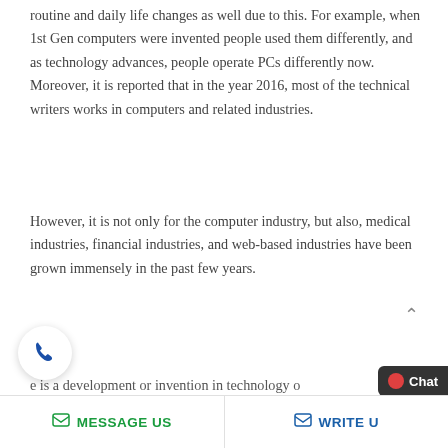routine and daily life changes as well due to this. For example, when 1st Gen computers were invented people used them differently, and as technology advances, people operate PCs differently now. Moreover, it is reported that in the year 2016, most of the technical writers works in computers and related industries.
However, it is not only for the computer industry, but also, medical industries, financial industries, and web-based industries have been grown immensely in the past few years.
e is a development or invention in technology o products of any type, there will always be a need for
[Figure (other): Phone call button (circular white button with blue phone icon)]
MESSAGE US   WRITE U   Chat